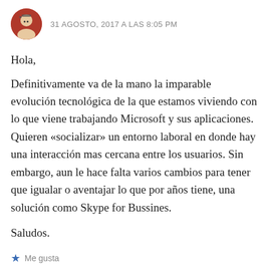31 AGOSTO, 2017 A LAS 8:05 PM
Hola,
Definitivamente va de la mano la imparable evolución tecnológica de la que estamos viviendo con lo que viene trabajando Microsoft y sus aplicaciones. Quieren «socializar» un entorno laboral en donde hay una interacción mas cercana entre los usuarios. Sin embargo, aun le hace falta varios cambios para tener que igualar o aventajar lo que por años tiene, una solución como Skype for Bussines.
Saludos.
Me gusta
RESPONDER